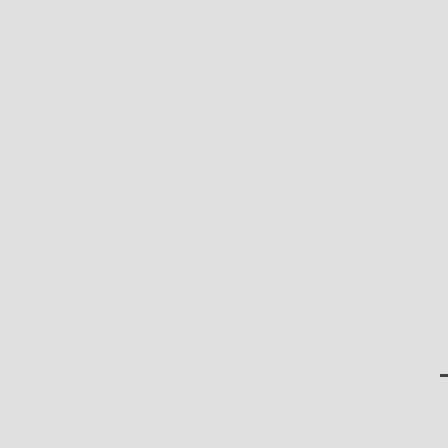Hydroxyvalerate) Pellets)|image=Vessel_sack.png|link=Sack(Poly(3-Hydroxybutyrate-Co-3-Hydroxyvalerate) Pellets)|amount=64}}{{Inventory/Slot|index=9|title=Powder Keg (Poly(3-Hydroxybut